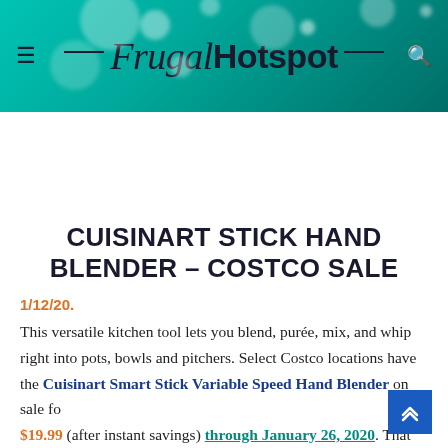Frugal Hotspot
CUISINART STICK HAND BLENDER – COSTCO SALE
1/12/20.
This versatile kitchen tool lets you blend, purée, mix, and whip right into pots, bowls and pitchers. Select Costco locations have the Cuisinart Smart Stick Variable Speed Hand Blender on sale for $19.99 (after instant savings) through January 26, 2020. That is...